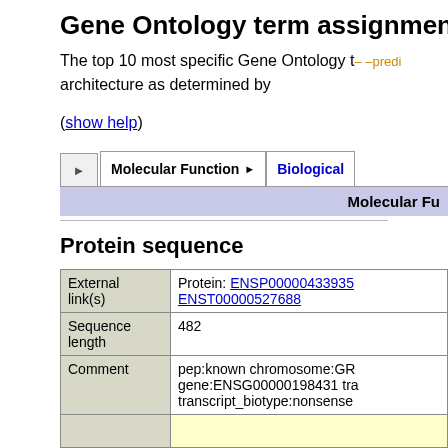Gene Ontology term assignment
The top 10 most specific Gene Ontology terms architecture as determined by
(show help)
[Figure (screenshot): Tab navigation with Molecular Function and Biological tabs]
|  | Molecular Fu... |
| --- | --- |
Protein sequence
|  |  |
| --- | --- |
| External link(s) | Protein: ENSP00000433935
ENST00000527688 |
| Sequence length | 482 |
| Comment | pep:known chromosome:GR gene:ENSG00000198431 tra transcript_biotype:nonsense |